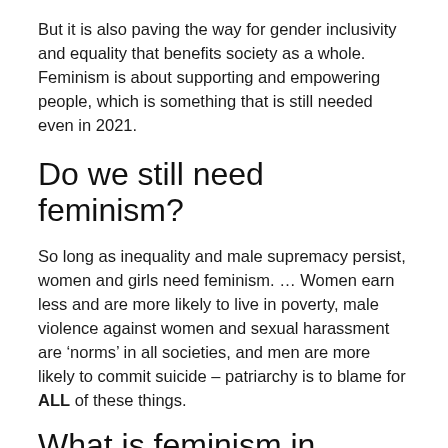But it is also paving the way for gender inclusivity and equality that benefits society as a whole. Feminism is about supporting and empowering people, which is something that is still needed even in 2021.
Do we still need feminism?
So long as inequality and male supremacy persist, women and girls need feminism. … Women earn less and are more likely to live in poverty, male violence against women and sexual harassment are ‘norms’ in all societies, and men are more likely to commit suicide – patriarchy is to blame for ALL of these things.
What is feminism in today’s